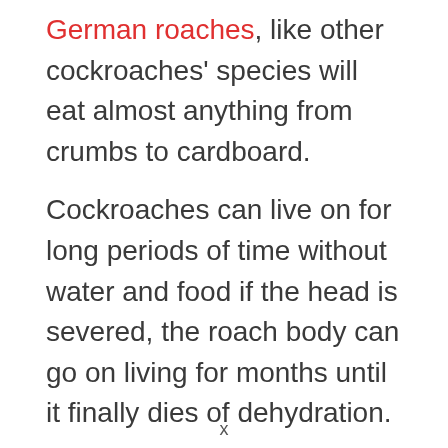German roaches, like other cockroaches' species will eat almost anything from crumbs to cardboard.
Cockroaches can live on for long periods of time without water and food if the head is severed, the roach body can go on living for months until it finally dies of dehydration.
In the US for example, the German cockroach
x